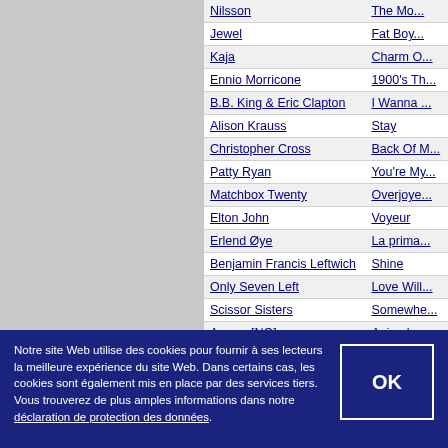| Artist | Album |
| --- | --- |
| Nilsson | The Mo... |
| Jewel | Fat Boy... |
| Kaja | Charm O... |
| Ennio Morricone | 1900's Th... |
| B.B. King & Eric Clapton | I Wanna ... |
| Alison Krauss | Stay |
| Christopher Cross | Back Of M... |
| Patty Ryan | You're My... |
| Matchbox Twenty | Overjoye... |
| Elton John | Voyeur |
| Erlend Øye | La prima... |
| Benjamin Francis Leftwich | Shine |
| Only Seven Left | Love Will... |
| Scissor Sisters | Somewhe... |
| Aurora [NO] | Animal |
| Céline Dion | Heart Of... |
| Mike + The Mechanics | Don't Kno... |
| Michael Patrick Kelly | Last Wor... |
Notre site Web utilise des cookies pour fournir à ses lecteurs la meilleure expérience du site Web. Dans certains cas, les cookies sont également mis en place par des services tiers. Vous trouverez de plus amples informations dans notre déclaration de protection des données.